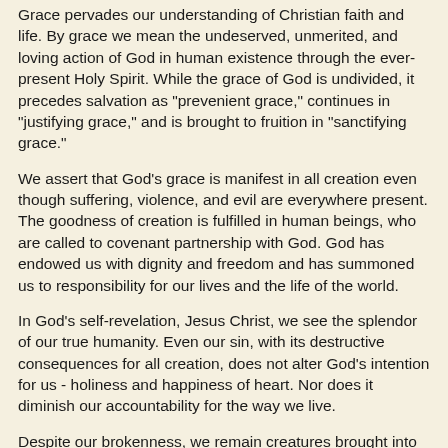Grace pervades our understanding of Christian faith and life. By grace we mean the undeserved, unmerited, and loving action of God in human existence through the ever-present Holy Spirit. While the grace of God is undivided, it precedes salvation as "prevenient grace," continues in "justifying grace," and is brought to fruition in "sanctifying grace."
We assert that God's grace is manifest in all creation even though suffering, violence, and evil are everywhere present. The goodness of creation is fulfilled in human beings, who are called to covenant partnership with God. God has endowed us with dignity and freedom and has summoned us to responsibility for our lives and the life of the world.
In God's self-revelation, Jesus Christ, we see the splendor of our true humanity. Even our sin, with its destructive consequences for all creation, does not alter God's intention for us - holiness and happiness of heart. Nor does it diminish our accountability for the way we live.
Despite our brokenness, we remain creatures brought into being by a just and merciful God. The restoration of God's image in our lives requires divine grace to renew our fallen nature.